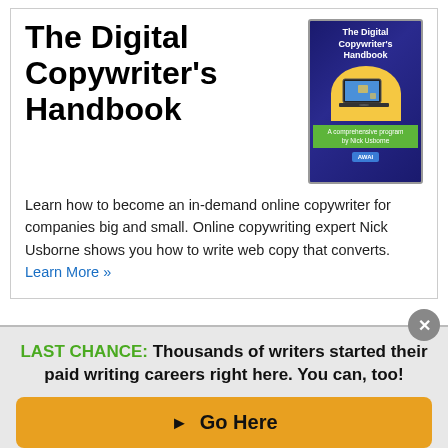The Digital Copywriter's Handbook
[Figure (illustration): Book cover for 'The Digital Copywriter's Handbook' by Nick Usborne — dark blue diagonal stripe background, white bold title text, yellow semicircle with laptop graphic, green 'A comprehensive program by Nick Usborne' banner, and AWAI badge.]
Learn how to become an in-demand online copywriter for companies big and small. Online copywriting expert Nick Usborne shows you how to write web copy that converts. Learn More »
LAST CHANCE: Thousands of writers started their paid writing careers right here. You can, too!
▶ Go Here